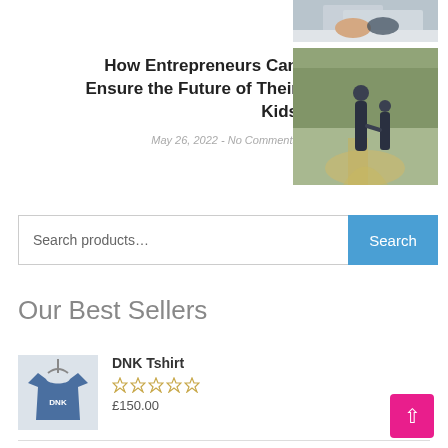[Figure (photo): Partial view of people at a desk (top right corner)]
How Entrepreneurs Can Ensure the Future of Their Kids
May 26, 2022 - No Comments
[Figure (photo): Two people holding hands outdoors on a path with green trees in background]
Search products...
Our Best Sellers
[Figure (photo): DNK Tshirt product image - blue t-shirt on hanger]
DNK Tshirt
£150.00